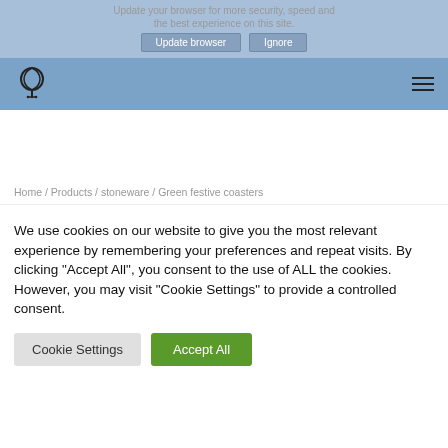Update your browser for more security, speed and the best experience on this site.
[Figure (logo): Website logo with stylized G/S letter mark in dark outline on blue navigation bar background]
Home / Products / stoneware / Green festive coasters
We use cookies on our website to give you the most relevant experience by remembering your preferences and repeat visits. By clicking "Accept All", you consent to the use of ALL the cookies. However, you may visit "Cookie Settings" to provide a controlled consent.
Cookie Settings | Accept All